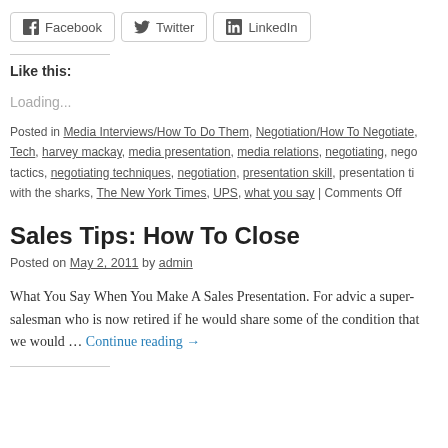Facebook  Twitter  LinkedIn (social share buttons)
Like this:
Loading...
Posted in Media Interviews/How To Do Them, Negotiation/How To Negotiate, Tech, harvey mackay, media presentation, media relations, negotiating, nego tactics, negotiating techniques, negotiation, presentation skill, presentation ti with the sharks, The New York Times, UPS, what you say | Comments Off
Sales Tips: How To Close
Posted on May 2, 2011 by admin
What You Say When You Make A Sales Presentation. For advice a super-salesman who is now retired if he would share some of the condition that we would … Continue reading →